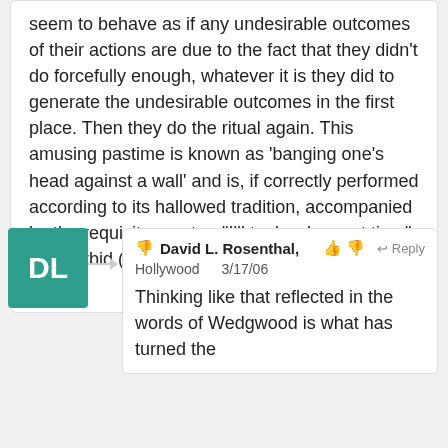seem to behave as if any undesirable outcomes of their actions are due to the fact that they didn't do forcefully enough, whatever it is they did to generate the undesirable outcomes in the first place. Then they do the ritual again. This amusing pastime is known as 'banging one's head against a wall' and is, if correctly performed according to its hallowed tradition, accompanied by the requisite mantra, "I'll try harder next time". God forbid (as he's wont to do) they try a new tack.
David L. Rosenthal, Hollywood 3/17/06
Thinking like that reflected in the words of Wedgwood is what has turned the